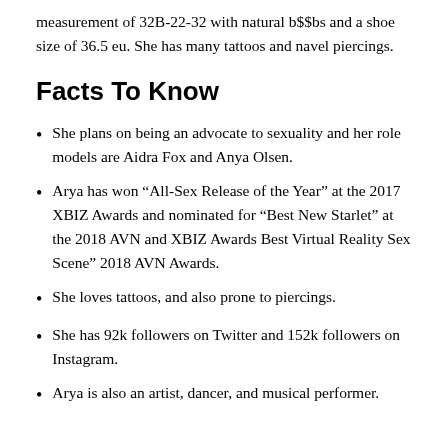measurement of 32B-22-32 with natural b$$bs and a shoe size of 36.5 eu. She has many tattoos and navel piercings.
Facts To Know
She plans on being an advocate to sexuality and her role models are Aidra Fox and Anya Olsen.
Arya has won “All-Sex Release of the Year” at the 2017 XBIZ Awards and nominated for “Best New Starlet” at the 2018 AVN and XBIZ Awards Best Virtual Reality Sex Scene” 2018 AVN Awards.
She loves tattoos, and also prone to piercings.
She has 92k followers on Twitter and 152k followers on Instagram.
Arya is also an artist, dancer, and musical performer.